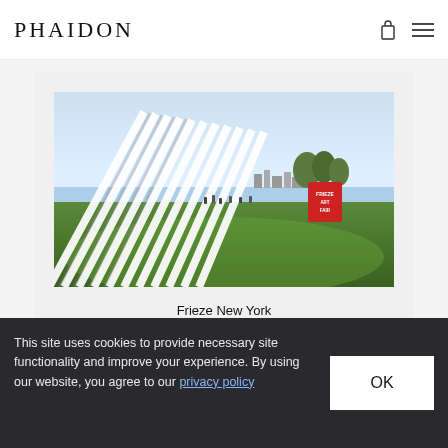PHAIDON
[Figure (photo): Outdoor photo of Frieze New York art fair showing diagonal white structural canopy/tent elements over a green lawn, with trees, water, and city skyline in background. A red Frieze Art Fair sign is visible on the right.]
Frieze New York
This site uses cookies to provide necessary site functionality and improve your experience. By using our website, you agree to our privacy policy